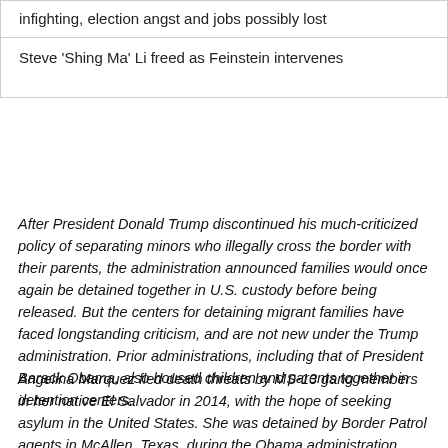infighting, election angst and jobs possibly lost
Steve ‘Shing Ma’ Li freed as Feinstein intervenes
After President Donald Trump discontinued his much-criticized policy of separating minors who illegally cross the border with their parents, the administration announced families would once again be detained together in U.S. custody before being released. But the centers for detaining migrant families have faced longstanding criticism, and are not new under the Trump administration. Prior administrations, including that of President Barack Obama, also housed children and parents together in detention centers.
Angelina Marquez fled death threats by MS-13 gang members in her native El Salvador in 2014, with the hope of seeking asylum in the United States. She was detained by Border Patrol agents in McAllen, Texas, during the Obama administration. Marquez—a pseudonym as she is still awaiting a final judgment on her